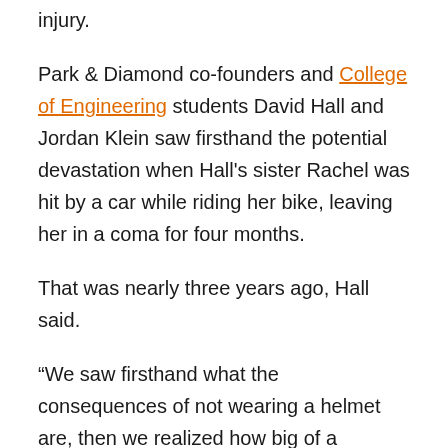injury.
Park & Diamond co-founders and College of Engineering students David Hall and Jordan Klein saw firsthand the potential devastation when Hall's sister Rachel was hit by a car while riding her bike, leaving her in a coma for four months.
That was nearly three years ago, Hall said.
“We saw firsthand what the consequences of not wearing a helmet are, then we realized how big of a problem it was, and for Jordan